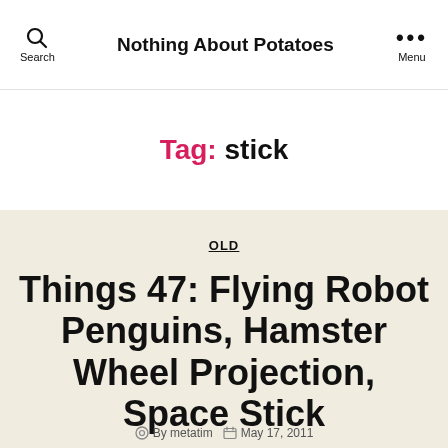Nothing About Potatoes
Tag: stick
OLD
Things 47: Flying Robot Penguins, Hamster Wheel Projection, Space Stick
By metatim   May 17, 2011